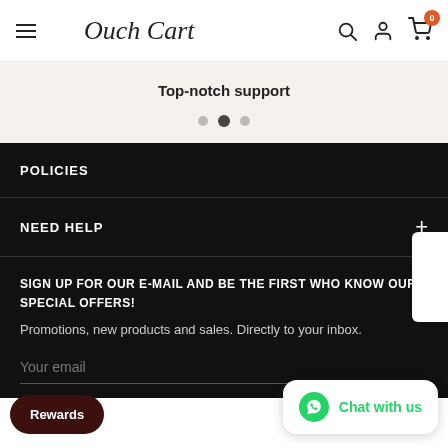Ouch Cart – navigation bar with hamburger menu, logo, search, account, cart (0)
Top-notch support
POLICIES
NEED HELP
SIGN UP FOR OUR E-MAIL AND BE THE FIRST WHO KNOW OUR SPECIAL OFFERS!
Promotions, new products and sales. Directly to your inbox.
Your email
Rewards
Chat with us